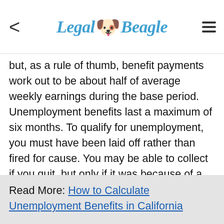Legal Beagle
but, as a rule of thumb, benefit payments work out to be about half of average weekly earnings during the base period. Unemployment benefits last a maximum of six months. To qualify for unemployment, you must have been laid off rather than fired for cause. You may be able to collect if you quit, but only if it was because of a serious issue like discrimination, harassment or unsafe conditions. To continue to qualify for unemployment benefits, you must be available for work and seeking it actively.
Read More: How to Calculate Unemployment Benefits in California